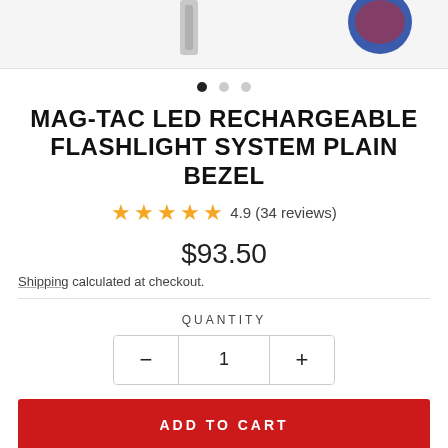[Figure (photo): Product image carousel showing MAG-TAC LED Rechargeable Flashlight, partially visible at top of page]
MAG-TAC LED RECHARGEABLE FLASHLIGHT SYSTEM PLAIN BEZEL
4.9 (34 reviews)
$93.50
Shipping calculated at checkout.
QUANTITY
1
ADD TO CART